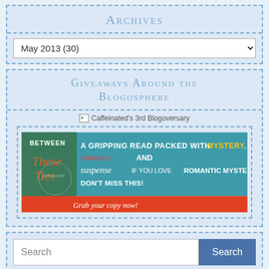Archives
May 2013  (30)
Giveaways Around the Blogosphere
[Figure (illustration): Promotional banner for 'Between These Ties' book with text: A gripping read packed with MYSTERY, romance AND suspense. If you love ROMANTIC MYSTERIES, DON'T MISS THIS! Grab your copy now!]
Caffeinated's 3rd Blogoversary
Search
Recent C...